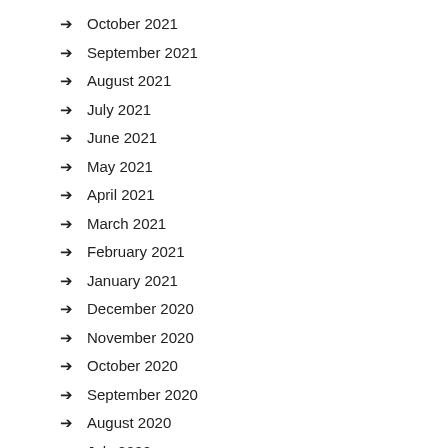October 2021
September 2021
August 2021
July 2021
June 2021
May 2021
April 2021
March 2021
February 2021
January 2021
December 2020
November 2020
October 2020
September 2020
August 2020
July 2020
June 2020
May 2020